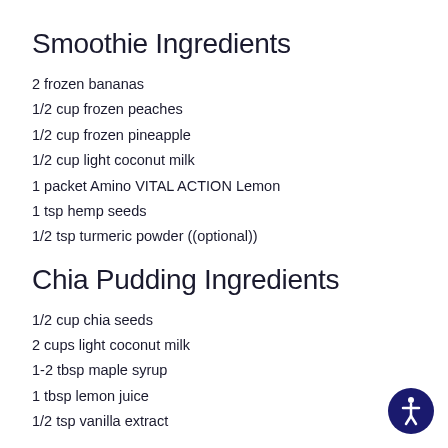Smoothie Ingredients
2 frozen bananas
1/2 cup frozen peaches
1/2 cup frozen pineapple
1/2 cup light coconut milk
1 packet Amino VITAL ACTION Lemon
1 tsp hemp seeds
1/2 tsp turmeric powder ((optional))
Chia Pudding Ingredients
1/2 cup chia seeds
2 cups light coconut milk
1-2 tbsp maple syrup
1 tbsp lemon juice
1/2 tsp vanilla extract
1. Peel two ripe bananas and transfer into an airtight